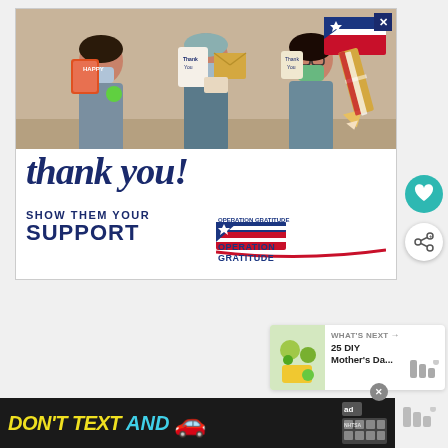[Figure (photo): Advertisement banner for Operation Gratitude showing three nurses/healthcare workers in scrubs and masks holding thank-you cards. Below the photo: cursive 'thank you!' text with a patriotic pencil graphic, 'SHOW THEM YOUR SUPPORT' text, and the Operation Gratitude logo with American flag star motif.]
[Figure (infographic): UI elements: teal heart button and white share button on right side of page]
[Figure (screenshot): What's Next panel showing '25 DIY Mother's Da...' with a thumbnail]
[Figure (infographic): Bottom black banner ad: 'DON'T TEXT AND' in yellow/cyan bold italic text with a red car emoji, ad badge, and NHTSA logo. Close X button visible.]